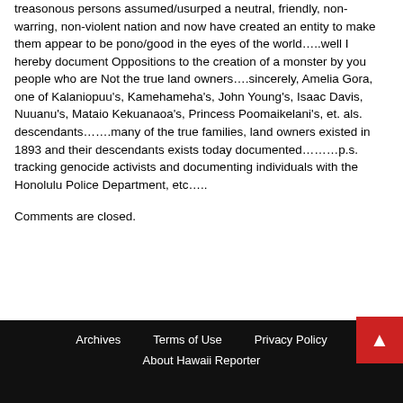treasonous persons assumed/usurped a neutral, friendly, non-warring, non-violent nation and now have created an entity to make them appear to be pono/good in the eyes of the world…..well I hereby document Oppositions to the creation of a monster by you people who are Not the true land owners….sincerely, Amelia Gora, one of Kalaniopuu's, Kamehameha's, John Young's, Isaac Davis, Nuuanu's, Mataio Kekuanaoa's, Princess Poomaikelani's, et. als. descendants…….many of the true families, land owners existed in 1893 and their descendants exists today documented………p.s. tracking genocide activists and documenting individuals with the Honolulu Police Department, etc…..
Comments are closed.
Archives   Terms of Use   Privacy Policy   About Hawaii Reporter